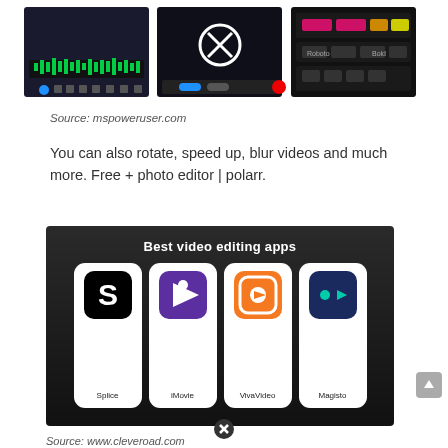[Figure (screenshot): Three app screenshot thumbnails showing video editing interfaces on dark backgrounds]
Source: mspoweruser.com
You can also rotate, speed up, blur videos and much more. Free + photo editor | polarr.
[Figure (infographic): Best video editing apps infographic on dark background showing four app icons: Splice, iMovie, VivaVideo, Magisto]
Source: www.cleveroad.com